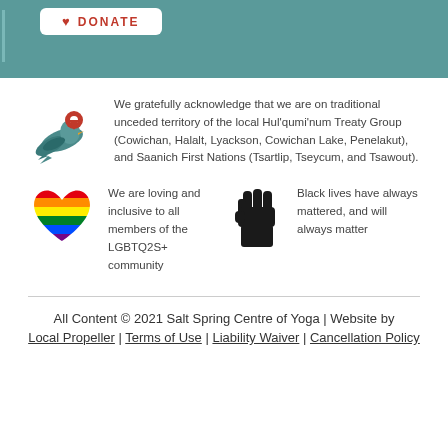[Figure (illustration): Teal banner with a white Donate button with a heart/location pin icon]
[Figure (illustration): Icon of a bird with a map location pin, representing indigenous territory acknowledgement]
We gratefully acknowledge that we are on traditional unceded territory of the local Hul'qumi'num Treaty Group (Cowichan, Halalt, Lyackson, Cowichan Lake, Penelakut), and Saanich First Nations (Tsartlip, Tseycum, and Tsawout).
[Figure (illustration): Rainbow pride heart icon]
We are loving and inclusive to all members of the LGBTQ2S+ community
[Figure (illustration): Black raised fist icon representing Black Lives Matter]
Black lives have always mattered, and will always matter
All Content © 2021 Salt Spring Centre of Yoga | Website by Local Propeller | Terms of Use | Liability Waiver | Cancellation Policy